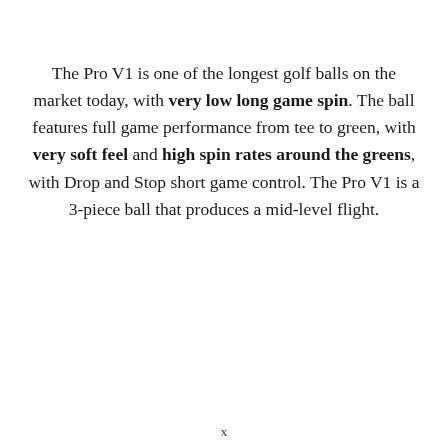The Pro V1 is one of the longest golf balls on the market today, with very low long game spin. The ball features full game performance from tee to green, with very soft feel and high spin rates around the greens, with Drop and Stop short game control. The Pro V1 is a 3-piece ball that produces a mid-level flight.
x